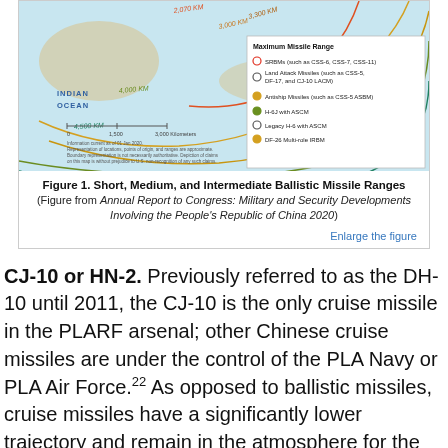[Figure (map): Map showing Short, Medium, and Intermediate Ballistic Missile Ranges from China, with concentric arcs labeled 3,000 KM, 3,300 KM, 4,000 KM, 2,070 KM, 4,500 KM over the Indian Ocean and Indonesia regions. Legend shows Maximum Missile Range categories: SRBMs (CSS-6, CSS-7, CSS-11), Land Attack Missiles (CSS-5, DF-17, CJ-10 LACM), Antiship Missiles (CSS-5 ASBM), H-6J with ASCM, Legacy H-6 with ASCM, DF-26 Multi-role IRBM.]
Figure 1. Short, Medium, and Intermediate Ballistic Missile Ranges (Figure from Annual Report to Congress: Military and Security Developments Involving the People's Republic of China 2020)
CJ-10 or HN-2. Previously referred to as the DH-10 until 2011, the CJ-10 is the only cruise missile in the PLARF arsenal; other Chinese cruise missiles are under the control of the PLA Navy or PLA Air Force.22 As opposed to ballistic missiles, cruise missiles have a significantly lower trajectory and remain in the atmosphere for the duration of their flight time; this makes cruise missiles difficult to detect and